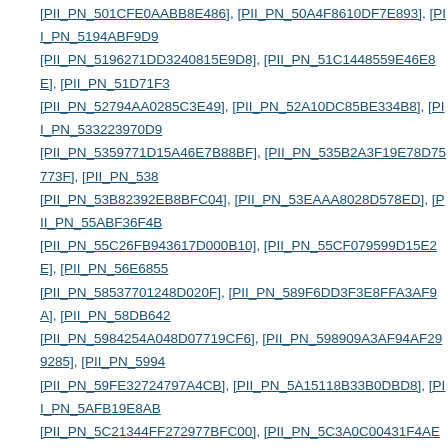[PII_PN_501CFE0AABB8E486], [PII_PN_50A4F8610DF7E893], [PII_PN_5194ABF9D9..., [PII_PN_5196271DD3240815E9D8], [PII_PN_51C1448559E46E8E], [PII_PN_51D71F3..., [PII_PN_52794AA0285C3E49], [PII_PN_52A10DC85BE334B8], [PII_PN_533223970D9..., [PII_PN_5359771D15A46E7B88BF], [PII_PN_535B2A3F19E78D75773F], [PII_PN_538..., [PII_PN_53B82392EB8BFC04], [PII_PN_53EAAA8028D578ED], [PII_PN_55ABF36F4B..., [PII_PN_55C26FB943617D000B10], [PII_PN_55CF079599D15E2E], [PII_PN_56E6855..., [PII_PN_58537701248D020F], [PII_PN_589F6DD3F3E8FFA3AF9A], [PII_PN_58DB642..., [PII_PN_5984254A048D07719CF6], [PII_PN_598909A3AF94AF299285], [PII_PN_5994..., [PII_PN_59FE32724797A4CB], [PII_PN_5A15118B33B0DBD8], [PII_PN_5AFB19E8AB..., [PII_PN_5C21344FF272977BFC00], [PII_PN_5C3A0C00431F4AEA], [PII_PN_5C5132C..., [PII_PN_5C7EDFFFBF2DB150], [PII_PN_5CCF45D83B632DA4], [PII_PN_5CDB13D30..., [PII_PN_5D916F2B758591115781], [PII_PN_5DDA07C0C142A8C9], [PII_PN_5DDC71..., [PII_PN_5E1FB36154EDC1C3A340], [PII_PN_5E318D74B67CEFFA0B24], [PII_PN_5E..., [PII_PN_5EE0479B1610FBB7], [PII_PN_5EF01F1F4D68FC99], [PII_PN_60138B5F07B..., [PII_PN_604A65F6CF2573F7], [PII_PN_60D4E6C18F72C804], [PII_PN_60DF99159F4..., [PII_PN_61D4327105AE4ABB24D4], [PII_PN_625F66D058AB5315CB99], [PII_PN_626..., [PII_PN_62BFC46A86F6D36A7569], [PII_PN_638CF01A02BDB70CDC58], [PII_PN_63..., [PII_PN_63E6FDEB76AD2546], [PII_PN_64016F030E1DDFD0], [PII_PN_653DE77147..., [PII_PN_6559333C85388865C6A3], [PII_PN_659A6F87E4C92614], [PII_PN_65FAC9E..., [PII_PN_661F7E4C5AFA3395D7C4], [PII_PN_66D9285D8A1949BC], [PII_PN_66FFEF..., [PII_PN_6734686CF2CEED85], [PII_PN_6770C8A77E59F3D3], [PII_PN_678E2DB065..., [PII_PN_67C54DA38B0558E2], [PII_PN_67E03FE9B0CCB85A], [PII_PN_67F2CB7CF5..., [PII_PN_681F474FD5C2271E], [PII_PN_68D7AD3AA9ADDC30], [PII_PN_69367CD874...